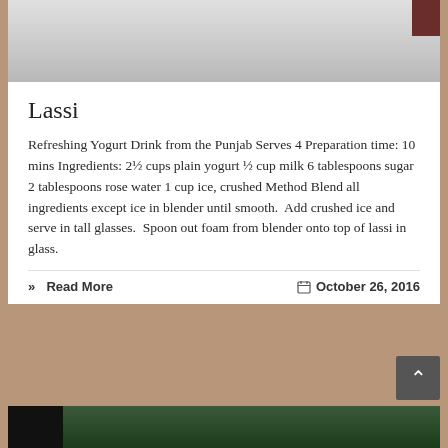[Figure (photo): Top portion of a photo, showing a white/grey cylindrical glass or cup against a light background, with a dark reddish-brown element in the top right corner.]
Lassi
Refreshing Yogurt Drink from the Punjab Serves 4 Preparation time: 10 mins Ingredients: 2½ cups plain yogurt ½ cup milk 6 tablespoons sugar 2 tablespoons rose water 1 cup ice, crushed Method Blend all ingredients except ice in blender until smooth.  Add crushed ice and serve in tall glasses.  Spoon out foam from blender onto top of lassi in glass.
»  Read More	October 26, 2016
[Figure (photo): Bottom portion of a photo showing green foliage/plants with a dark foreground element on the left side.]